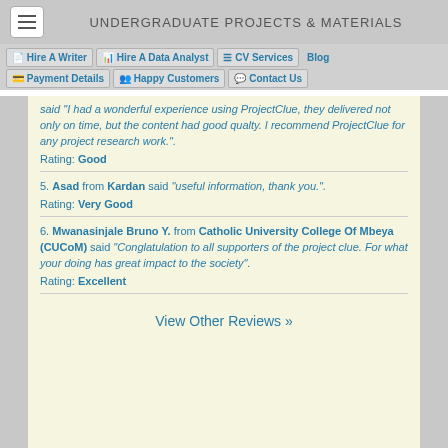UNDERGRADUATE PROJECTS & MATERIALS
Hire A Writer | Hire A Data Analyst | CV Services | Blog | Payment Details | Happy Customers | Contact Us
said "I had a wonderful experience using ProjectClue, they delivered not only on time, but the content had good quality. I recommend ProjectClue for any project research work.". Rating: Good
5. Asad from Kardan said "useful information, thank you.". Rating: Very Good
6. Mwanasinjale Bruno Y. from Catholic University College Of Mbeya (CUCoM) said "Conglatulation to all supporters of the project clue. For what your doing has great impact to the society". Rating: Excellent
View Other Reviews »